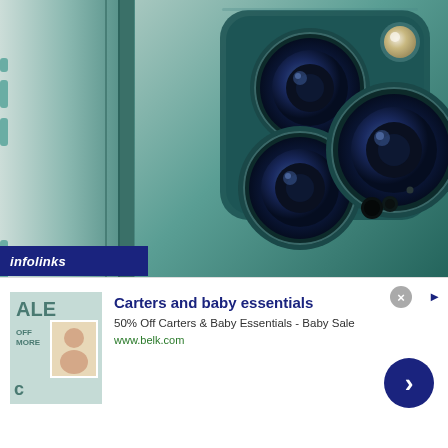[Figure (photo): Close-up photograph of two teal/alpine green iPhone Pro smartphones. The left phone shows the side edge with volume buttons, and the right phone shows the back with a large triple-camera module and LiDAR sensor in a rounded square housing on a teal matte back.]
[Figure (screenshot): Infolinks advertisement banner overlay at the bottom. Shows a 'Carters and baby baby essentials' advertisement with a teal sale image on the left, bold blue title 'Carters and baby essentials', description '50% Off Carters & Baby Essentials - Baby Sale', URL 'www.belk.com', and a blue circular arrow button on the right. A grey X close button and blue arrow are shown at the top right of the ad.]